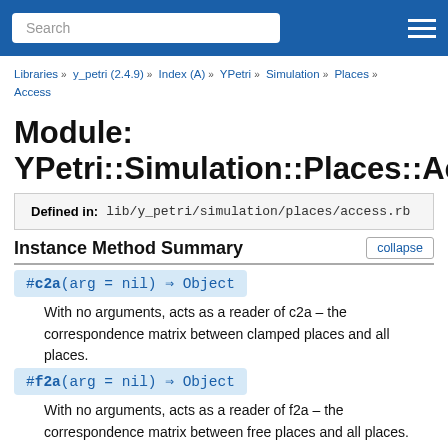Search
Libraries » y_petri (2.4.9) » Index (A) » YPetri » Simulation » Places » Access
Module: YPetri::Simulation::Places::Access
| Defined in: | lib/y_petri/simulation/places/access.rb |
| --- | --- |
Instance Method Summary
#c2a(arg = nil) ⇒ Object
With no arguments, acts as a reader of c2a – the correspondence matrix between clamped places and all places.
#f2a(arg = nil) ⇒ Object
With no arguments, acts as a reader of f2a – the correspondence matrix between free places and all places.